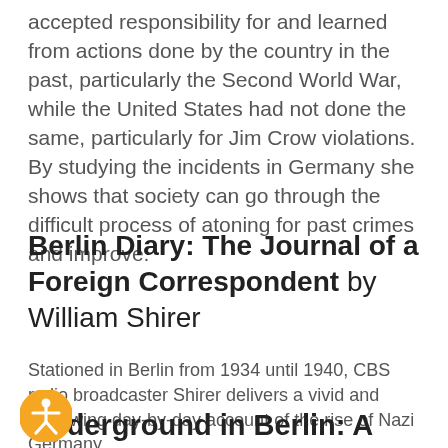accepted responsibility for and learned from actions done by the country in the past, particularly the Second World War, while the United States had not done the same, particularly for Jim Crow violations. By studying the incidents in Germany she shows that society can go through the difficult process of atoning for past crimes and improve.
Berlin Diary: The Journal of a Foreign Correspondent by William Shirer
Stationed in Berlin from 1934 until 1940, CBS radio broadcaster Shirer delivers a vivid and harrowing day-by-day account of the rise of Nazi Germany.
Underground in Berlin: A